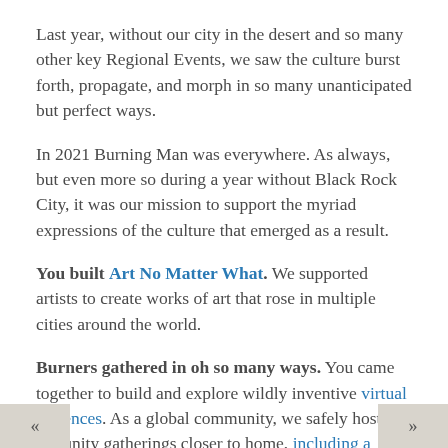Last year, without our city in the desert and so many other key Regional Events, we saw the culture burst forth, propagate, and morph in so many unanticipated but perfect ways.
In 2021 Burning Man was everywhere. As always, but even more so during a year without Black Rock City, it was our mission to support the myriad expressions of the culture that emerged as a result.
You built Art No Matter What. We supported artists to create works of art that rose in multiple cities around the world.
Burners gathered in oh so many ways. You came together to build and explore wildly inventive virtual periences. As a global community, we safely hosted mmunity gatherings closer to home, including a